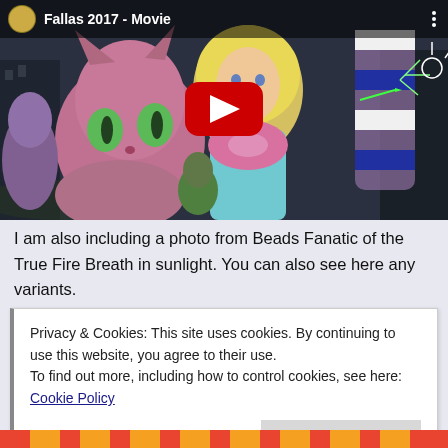[Figure (screenshot): YouTube video thumbnail for 'Fallas 2017 - Movie' showing colorful cartoon/puppet figures from the Fallas festival including a pink cat, a blonde girl with a bow, and other characters. A red YouTube play button is centered on the thumbnail.]
I am also including a photo from Beads Fanatic of the True Fire Breath in sunlight. You can also see here any variants.
Privacy & Cookies: This site uses cookies. By continuing to use this website, you agree to their use.
To find out more, including how to control cookies, see here: Cookie Policy
Close and accept